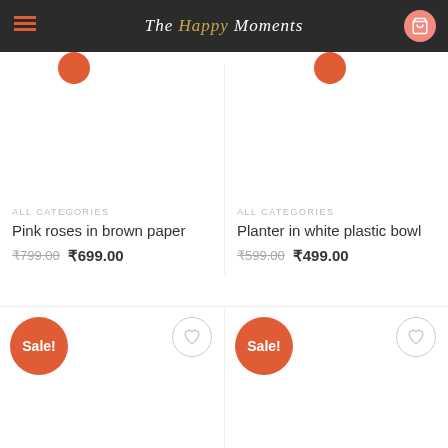The Happy Moments
ALL CATEGORIES
Pink roses in brown paper
₹799.00  ₹699.00
ALL CATEGORIES
Planter in white plastic bowl
₹599.00  ₹499.00
[Figure (other): Sale badge and wishlist button for product card 3]
[Figure (other): Sale badge and wishlist button for product card 4]